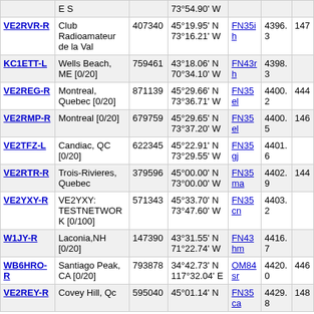| Callsign | Location | ID | Coordinates | Grid | Dist |  |
| --- | --- | --- | --- | --- | --- | --- |
| E S |  |  | 73°54.90' W |  |  |  |
| VE2RVR-R | Club Radioamateur de la Val | 407340 | 45°19.95' N 73°16.21' W | FN35ih | 4396.3 | 147 |
| KC1ETT-L | Wells Beach, ME [0/20] | 759461 | 43°18.06' N 70°34.10' W | FN43rh | 4398.3 |  |
| VE2REG-R | Montreal, Quebec [0/20] | 871139 | 45°29.66' N 73°36.71' W | FN35el | 4400.2 | 444 |
| VE2RMP-R | Montreal [0/20] | 679759 | 45°29.65' N 73°37.20' W | FN35el | 4400.5 | 146 |
| VE2TFZ-L | Candiac, QC [0/20] | 622345 | 45°22.91' N 73°29.55' W | FN35gj | 4401.6 |  |
| VE2RTR-R | Trois-Rivieres, Quebec | 379596 | 45°00.00' N 73°00.00' W | FN35ma | 4402.9 | 144 |
| VE2YXY-R | VE2YXY: TESTNETWORK [0/100] | 571343 | 45°33.70' N 73°47.60' W | FN35cn | 4403.2 |  |
| W1JY-R | Laconia,NH [0/20] | 147390 | 43°31.55' N 71°22.74' W | FN43hm | 4416.7 |  |
| WB6HRO-R | Santiago Peak, CA [0/20] | 793878 | 34°42.73' N 117°32.04' E | OM84sr | 4420.0 | 446 |
| VE2REY-R | Covey Hill, Qc | 595040 | 45°01.14' N | FN35ca | 4429.8 | 148 |